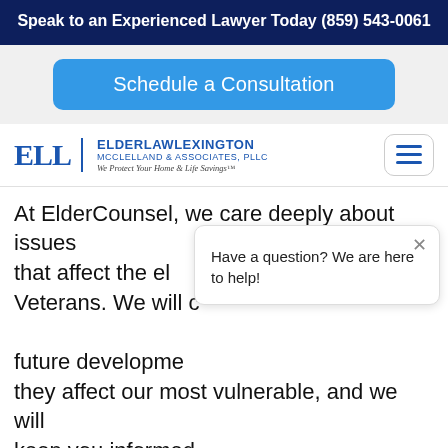Speak to an Experienced Lawyer Today
(859) 543-0061
[Figure (screenshot): Blue 'Schedule a Consultation' button]
[Figure (logo): ElderLaw Lexington McClelland & Associates, PLLC logo with ELL letters and tagline 'We Protect Your Home & Life Savings']
At ElderCounsel, we care deeply about issues that affect the eld... Veterans. We will c... future development... they affect our most vulnerable, and we will keep you informed.
[Figure (screenshot): Chat popup: 'Have a question? We are here to help!' with close X button, and chat bubble button with notification badge showing 1]